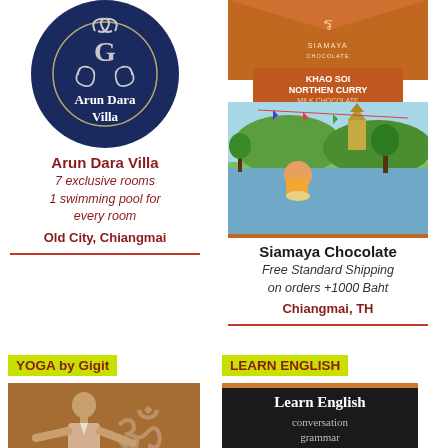[Figure (logo): Arun Dara Villa circular logo with decorative emblem on dark navy background]
Arun Dara Villa
7 exclusive rooms
1 swimming pool for every room
Old City, Chiangmai
[Figure (illustration): Siamaya Chocolate product packaging showing Khao Soi Northen Curry Milk Chocolate bar with illustrated scene of person eating by a river near a temple]
Siamaya Chocolate
Free Standard Shipping on orders +1000 Baht
Chiangmai, TH
YOGA by Gigit
[Figure (photo): Photo of a shirtless man in yoga pose with Om symbol in background]
LEARN ENGLISH
[Figure (screenshot): Black chalkboard-style image reading: Learn English, conversation, grammar, sentences]